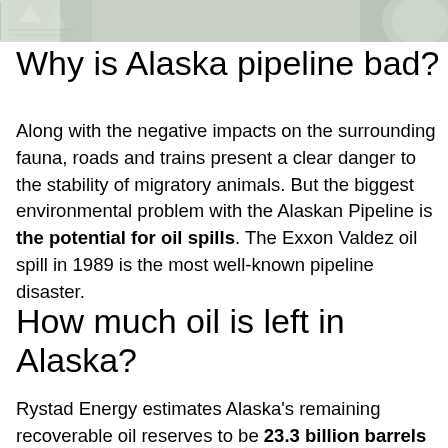[Figure (photo): Partial image strip at top of page showing nature/wildlife scene on left and partial circular image on right]
Why is Alaska pipeline bad?
Along with the negative impacts on the surrounding fauna, roads and trains present a clear danger to the stability of migratory animals. But the biggest environmental problem with the Alaskan Pipeline is the potential for oil spills. The Exxon Valdez oil spill in 1989 is the most well-known pipeline disaster.
How much oil is left in Alaska?
Rystad Energy estimates Alaska’s remaining recoverable oil reserves to be 23.3 billion barrels of oil and condensates